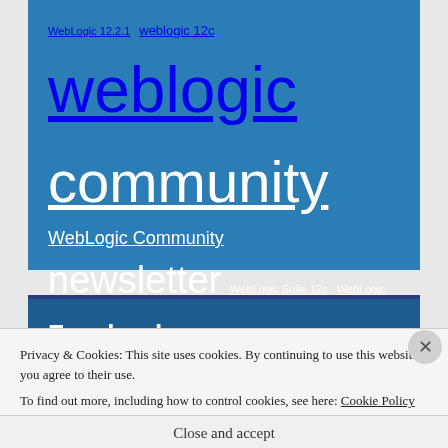WebLogic 12.2.1  weblogic 12c  weblogic community  WebLogic Community  newsletter  WebLogic Suite 12c  WebLogic training  WebSockets  YouTube
Facebook
Privacy & Cookies: This site uses cookies. By continuing to use this website, you agree to their use.
To find out more, including how to control cookies, see here: Cookie Policy
Close and accept